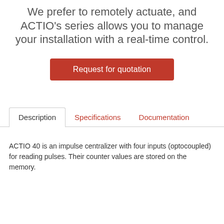We prefer to remotely actuate, and ACTIO's series allows you to manage your installation with a real-time control.
[Figure (other): Red button labeled 'Request for quotation']
Description | Specifications | Documentation (tab navigation)
ACTIO 40 is an impulse centralizer with four inputs (optocoupled) for reading pulses. Their counter values are stored on the memory.